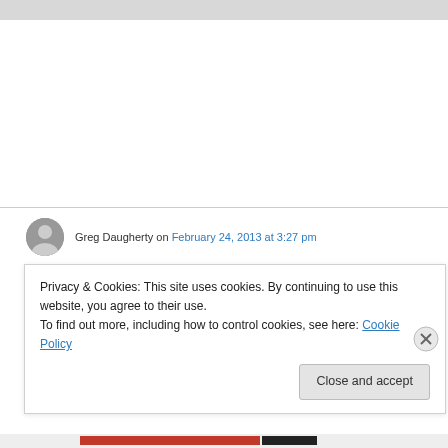Greg Daugherty on February 24, 2013 at 3:27 pm
Nice article! That triangle looks like a description of the Hindu chakras, with the first two chakras represented by the bottom area of the triangle, and each of the next areas representing the
Privacy & Cookies: This site uses cookies. By continuing to use this website, you agree to their use.
To find out more, including how to control cookies, see here: Cookie Policy
Close and accept